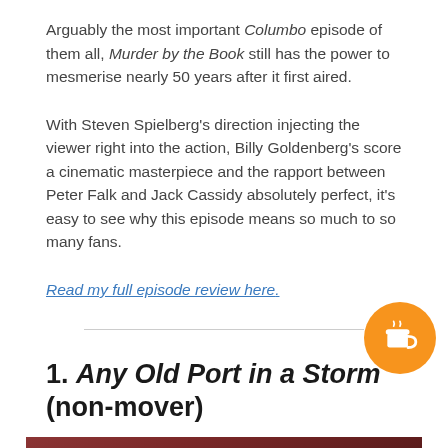Arguably the most important Columbo episode of them all, Murder by the Book still has the power to mesmerise nearly 50 years after it first aired.
With Steven Spielberg's direction injecting the viewer right into the action, Billy Goldenberg's score a cinematic masterpiece and the rapport between Peter Falk and Jack Cassidy absolutely perfect, it's easy to see why this episode means so much to so many fans.
Read my full episode review here.
1. Any Old Port in a Storm (non-mover)
[Figure (photo): Bottom portion of a photo showing what appears to be a person, cropped at the bottom of the page, with deep red/burgundy background tones.]